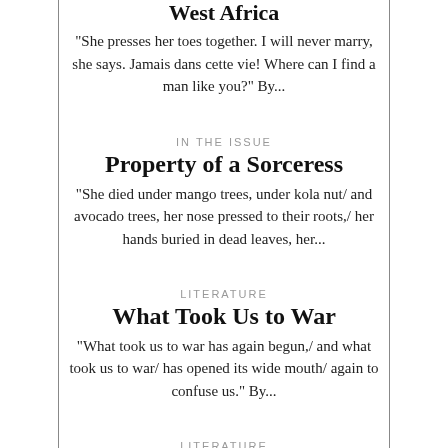West Africa
"She presses her toes together. I will never marry, she says. Jamais dans cette vie! Where can I find a man like you?" By...
IN THE ISSUE
Property of a Sorceress
"She died under mango trees, under kola nut/ and avocado trees, her nose pressed to their roots,/ her hands buried in dead leaves, her...
LITERATURE
What Took Us to War
"What took us to war has again begun,/ and what took us to war/ has opened its wide mouth/ again to confuse us." By...
LITERATURE